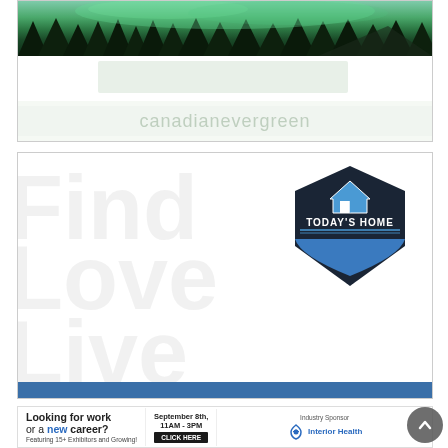[Figure (illustration): Canadian Evergreen advertisement banner with aurora borealis/northern lights over pine trees and mountains, with 'canadianevergreen' text in light gray]
[Figure (illustration): Today's Home real estate advertisement with a dark shield/badge logo featuring a house icon and 'TODAY'S HOME' text, with large faded text in background saying 'Find Love Live']
[Figure (illustration): Job fair advertisement banner: 'Looking for work or a new career? Featuring 15+ Exhibitors and Growing! September 8th, 11AM-3PM CLICK HERE Industry Sponsor Interior Health']